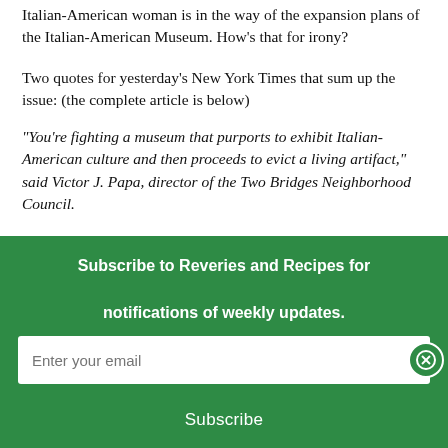Italian-American woman is in the way of the expansion plans of the Italian-American Museum. How’s that for irony?
Two quotes for yesterday’s New York Times that sum up the issue:  (the complete article is below)
“You’re fighting a museum that purports to exhibit Italian-American culture and then proceeds to evict a living artifact,” said Victor J. Papa, director of the  Two Bridges Neighborhood Council.
“So the museum should be running a charity or providing residences at discount rates?” Joe Carella, the spokesman, asked.
Subscribe to Reveries and Recipes for notifications of weekly updates.